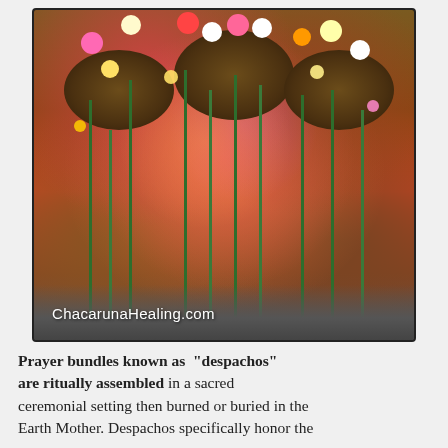[Figure (photo): A ritual arrangement of colorful roses and flowers inserted into moss and soil mounds covered in multicolored sprinkles/confetti, forming a heart-like shape on a dark surface. Watermark text reads ChacarunaHealing.com at bottom left.]
Prayer bundles known as "despachos" are ritually assembled in a sacred ceremonial setting then burned or buried in the Earth Mother. Despachos specifically honor the